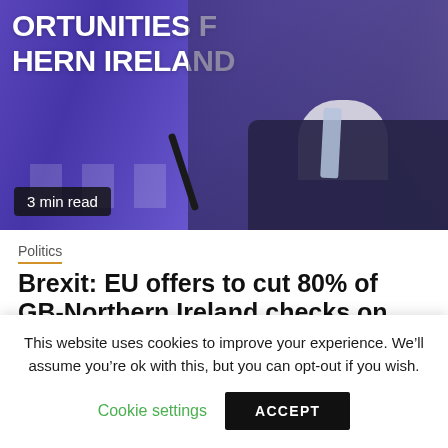[Figure (photo): EU official speaking at a press conference with purple EU backdrop displaying text 'OPPORTUNITIES FOR NORTHERN IRELAND', EU flags visible in background, man in dark suit with light blue tie gesturing with hands. Badge reads '3 min read'.]
3 min read
Politics
Brexit: EU offers to cut 80% of GB-Northern Ireland checks on some goods to end ‘sausage war’
This website uses cookies to improve your experience. We’ll assume you’re ok with this, but you can opt-out if you wish.
Cookie settings   ACCEPT